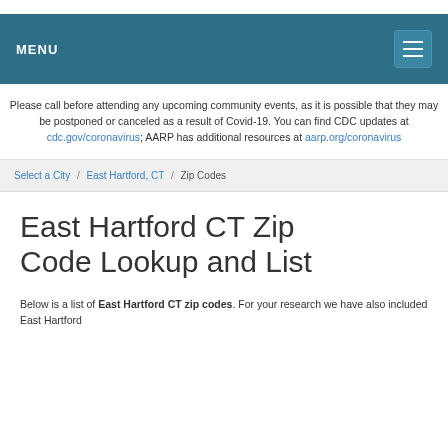MENU
Please call before attending any upcoming community events, as it is possible that they may be postponed or canceled as a result of Covid-19. You can find CDC updates at cdc.gov/coronavirus; AARP has additional resources at aarp.org/coronavirus
Select a City / East Hartford, CT / Zip Codes
East Hartford CT Zip Code Lookup and List
Below is a list of East Hartford CT zip codes. For your research we have also included East Hartford